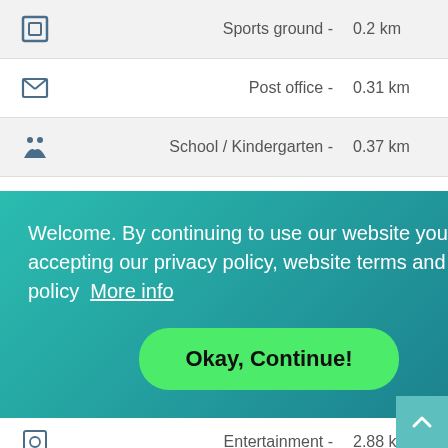| Icon | Place | Distance |
| --- | --- | --- |
| [sports] | Sports ground - | 0.2 km |
| [post] | Post office - | 0.31 km |
| [school] | School / Kindergarten - | 0.37 km |
| [supermarket] | Supermarket - | 0.39 km |
| [bus] | Public transport stop - | 0.41 km |
| [parking] | Parking - | 0.42 km |
| [museum] | Museum - | 0.55 km |
| [entertainment] | Entertainment - | 2.88 km |
Welcome. By continuing to use our website you are accepting our privacy policy, website terms and cookie policy More info
Okay, Continue!